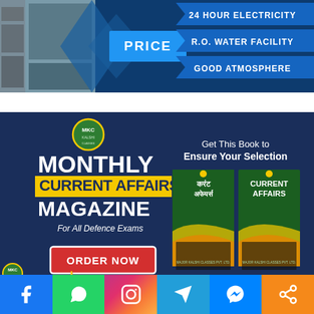[Figure (advertisement): Top advertisement banner with dark blue background showing PRICE text, chevron shape, and feature list: 24 HOUR ELECTRICITY, R.O. WATER FACILITY, GOOD ATMOSPHERE]
[Figure (advertisement): Monthly Current Affairs Magazine ad by Major Kalshi Classes. Dark navy background with MKC logo, text: MONTHLY CURRENT AFFAIRS MAGAZINE For All Defence Exams, Get This Book to Ensure Your Selection, ORDER NOW button, shows two book covers in Hindi and English, website dlp.majorkalshiclasses.com]
[Figure (infographic): Social media share bar with Facebook, WhatsApp, Instagram, Telegram, Messenger, and Share icons]